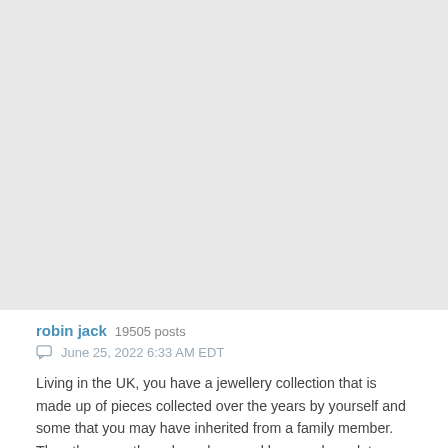[Figure (other): Large blank/grey area at the top of the page, representing an image placeholder or cropped content area]
robin jack  19505 posts
June 25, 2022 6:33 AM EDT
Living in the UK, you have a jewellery collection that is made up of pieces collected over the years by yourself and some that you may have inherited from a family member. Then there are those brooches, necklaces or bracelets brought in the local charity shop, car boot or from an online auction Now your interest has grown and you want to know a little bit more. Just how old is this brooch, where does this